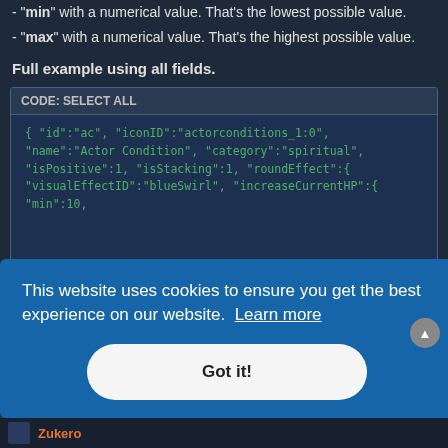- "min" with a numerical value. That's the lowest possible value.
- "max" with a numerical value. That's the highest possible value.
Full example using all fields.
CODE: SELECT ALL
{
    "id":"ac",
    "iconID":"actorconditions_1:0",
    "name":"Actor Condition",
    "category":"spiritual",
    "isPositive":1,
    "isStacking":1,
    "roundEffect":{
        "visualEffectID":"blueSwirl",
        "increaseCurrentHP":{
            "min":10,
This website uses cookies to ensure you get the best experience on our website. Learn more
Got it!
Zukero